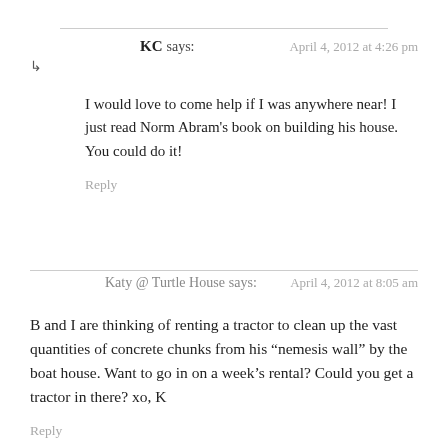KC says: April 4, 2012 at 4:26 pm
I would love to come help if I was anywhere near! I just read Norm Abram's book on building his house. You could do it!
Reply
Katy @ Turtle House says: April 4, 2012 at 8:05 am
B and I are thinking of renting a tractor to clean up the vast quantities of concrete chunks from his “nemesis wall” by the boat house. Want to go in on a week’s rental? Could you get a tractor in there? xo, K
Reply